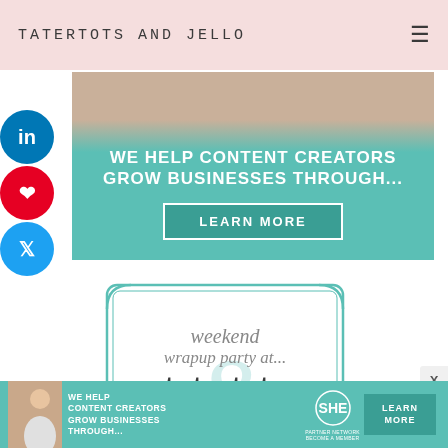TATERTOTS AND JELLO
[Figure (infographic): Teal advertisement banner: WE HELP CONTENT CREATORS GROW BUSINESSES THROUGH... with LEARN MORE button, overlaid on photo of people]
[Figure (logo): Weekend wrapup party at... tatertots & jello logo in teal bordered frame]
[Figure (infographic): Bottom ad banner: SHE Media Partner Network - WE HELP CONTENT CREATORS GROW BUSINESSES THROUGH... BECOME A MEMBER - LEARN MORE button]